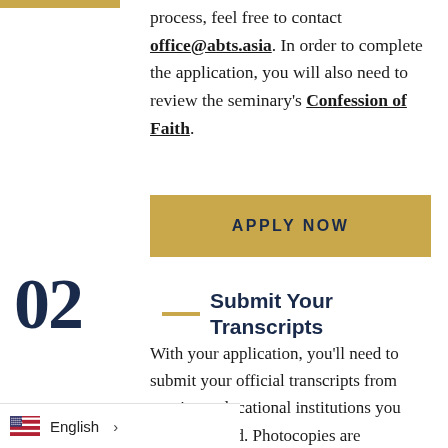process, feel free to contact office@abts.asia. In order to complete the application, you will also need to review the seminary's Confession of Faith.
APPLY NOW
Submit Your Transcripts
With your application, you'll need to submit your official transcripts from previous educational institutions you have attended. Photocopies are
English >